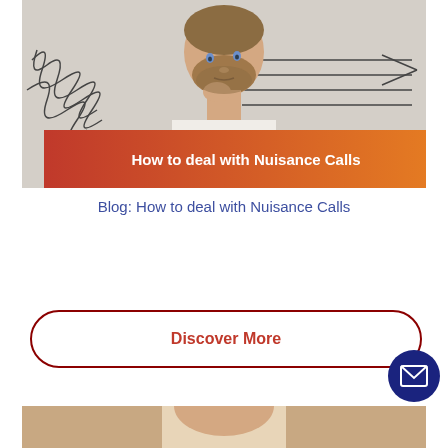[Figure (photo): Man with beard in contemplative pose against light wall with tangled and straight lines drawn on it, with a red-to-orange gradient banner overlay reading 'How to deal with Nuisance Calls']
Blog: How to deal with Nuisance Calls
Discover More
[Figure (photo): Bottom portion of another image, showing a person's shoulder/neck area]